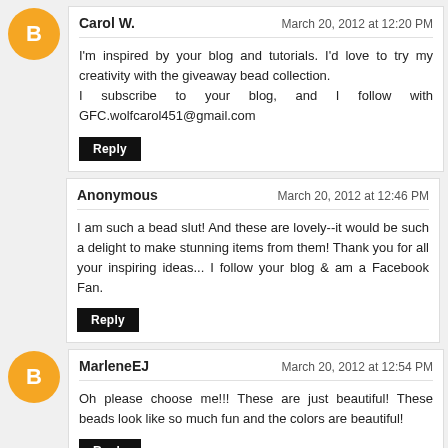Carol W. — March 20, 2012 at 12:20 PM
I'm inspired by your blog and tutorials. I'd love to try my creativity with the giveaway bead collection. I subscribe to your blog, and I follow with GFC.wolfcarol451@gmail.com
Reply
Anonymous — March 20, 2012 at 12:46 PM
I am such a bead slut! And these are lovely--it would be such a delight to make stunning items from them! Thank you for all your inspiring ideas... I follow your blog & am a Facebook Fan.
Reply
MarleneEJ — March 20, 2012 at 12:54 PM
Oh please choose me!!! These are just beautiful! These beads look like so much fun and the colors are beautiful!
Reply